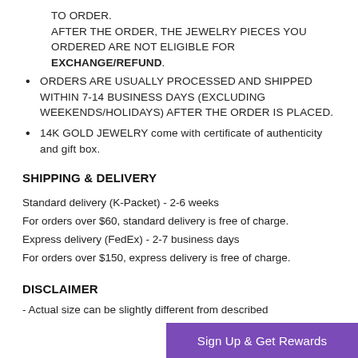TO ORDER.
AFTER THE ORDER, THE JEWELRY PIECES YOU ORDERED ARE NOT ELIGIBLE FOR EXCHANGE/REFUND.
ORDERS ARE USUALLY PROCESSED AND SHIPPED WITHIN 7-14 BUSINESS DAYS (EXCLUDING WEEKENDS/HOLIDAYS) AFTER THE ORDER IS PLACED.
14K GOLD JEWELRY come with certificate of authenticity and gift box.
SHIPPING & DELIVERY
Standard delivery (K-Packet) - 2-6 weeks
For orders over $60, standard delivery is free of charge.
Express delivery (FedEx) - 2-7 business days
For orders over $150, express delivery is free of charge.
DISCLAIMER
- Actual size can be slightly different from described
[Figure (other): Purple 'Sign Up & Get Rewards' button overlay]